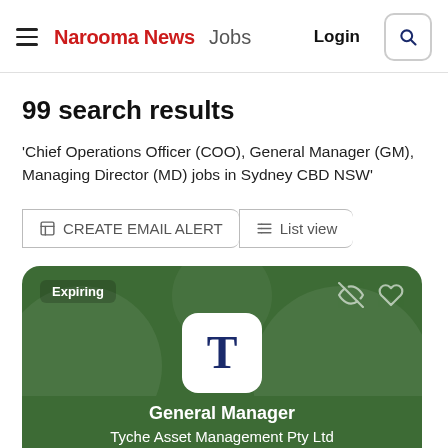Narooma News Jobs — Login
99 search results
'Chief Operations Officer (COO), General Manager (GM), Managing Director (MD) jobs in Sydney CBD NSW'
CREATE EMAIL ALERT
List view
[Figure (screenshot): Job listing card with green background showing 'Expiring' badge, company logo with letter T, job title 'General Manager', company name 'Tyche Asset Management Pty Ltd']